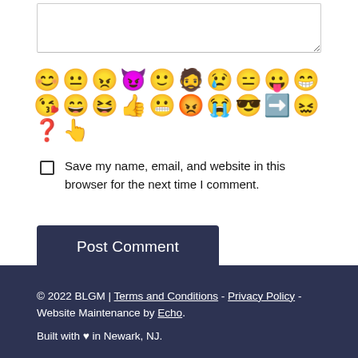[Figure (screenshot): Comment textarea input box]
[Figure (illustration): Row of emoji reaction icons including smiley faces, thumbs up, question mark, and other emoji symbols]
Save my name, email, and website in this browser for the next time I comment.
Post Comment
© 2022 BLGM | Terms and Conditions - Privacy Policy - Website Maintenance by Echo.

Built with ♥ in Newark, NJ.